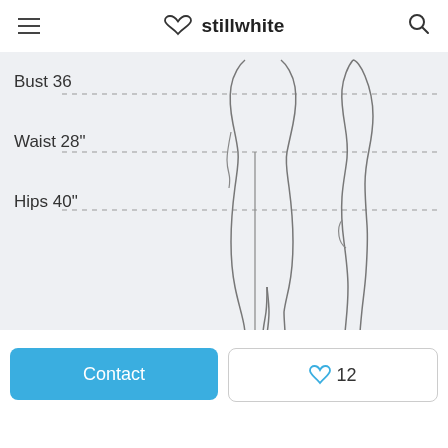stillwhite
Bust 36
Waist 28"
Hips 40"
[Figure (illustration): Front and side view line drawing of a female body figure (lower half showing legs), with dashed horizontal measurement lines at bust, waist, and hips levels.]
Contact
♡12